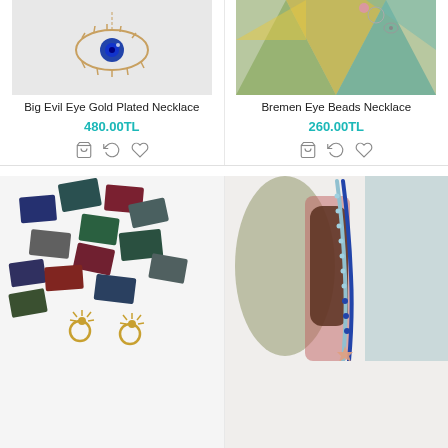[Figure (photo): Evil eye gold plated necklace on white background]
[Figure (photo): Bremen eye beads necklace on colorful geometric background]
Big Evil Eye Gold Plated Necklace
480.00TL
Bremen Eye Beads Necklace
260.00TL
[Figure (photo): Colorful glass pieces with gold earrings on white background]
[Figure (photo): Blue beaded necklace with star pendant held by person]